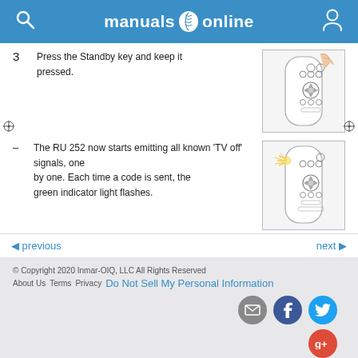manuals online
3   Press the Standby key and keep it pressed.
[Figure (illustration): Remote control close-up with finger pressing power/standby button at top right]
– The RU 252 now starts emitting all known 'TV off' signals, one by one. Each time a code is sent, the green indicator light flashes.
[Figure (illustration): Remote control illustration with flash/indicator light at top left glowing]
previous   next
© Copyright 2020 Inmar-OIQ, LLC All Rights Reserved
About Us   Terms   Privacy   Do Not Sell My Personal Information